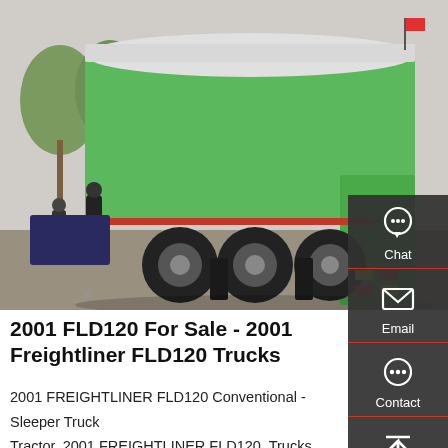[Figure (photo): Green Freightliner FLD120 dump/tipper truck with white tarp cover on cargo bed, photographed from rear-left angle in an outdoor setting with people and trees visible.]
2001 FLD120 For Sale - 2001 Freightliner FLD120 Trucks
2001 FREIGHTLINER FLD120 Conventional - Sleeper Truck Tractor. 2001 FREIGHTLINER FLD120, Trucks, 2001 FREIGHTLINER FLD120 TANDEM AXLE SLEEPER, Detroit Series 60, 500hp, Eaton Fuller 10 Speed Manual, 3.70, 1400400 Base Equipments, Website Now Allowing...